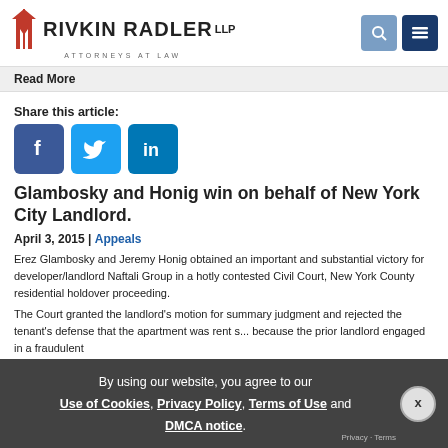Rivkin Radler LLP — Attorneys at Law
Read More
Share this article:
[Figure (infographic): Facebook, Twitter, LinkedIn share buttons]
Glambosky and Honig win on behalf of New York City Landlord.
April 3, 2015 | Appeals
Erez Glambosky and Jeremy Honig obtained an important and substantial victory for developer/landlord Naftali Group in a hotly contested Civil Court, New York County residential holdover proceeding.
The Court granted the landlord's motion for summary judgment and rejected the tenant's defense that the apartment was rent s... because the prior landlord engaged in a fraudulent
By using our website, you agree to our Use of Cookies, Privacy Policy, Terms of Use and DMCA notice.